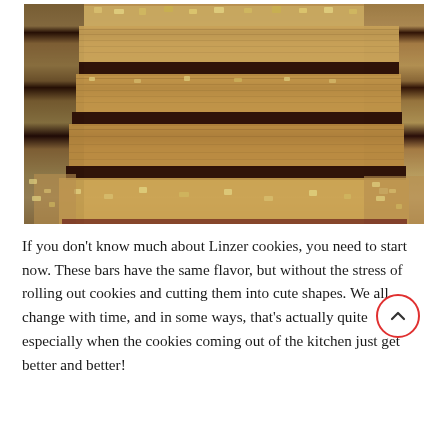[Figure (photo): Close-up photo of stacked Linzer cookie bars with layers of shortbread, dark chocolate/jam filling, and chopped nuts on top and scattered around]
If you don't know much about Linzer cookies, you need to start now. These bars have the same flavor, but without the stress of rolling out cookies and cutting them into cute shapes. We all change with time, and in some ways, that's actually quite especially when the cookies coming out of the kitchen just get better and better!